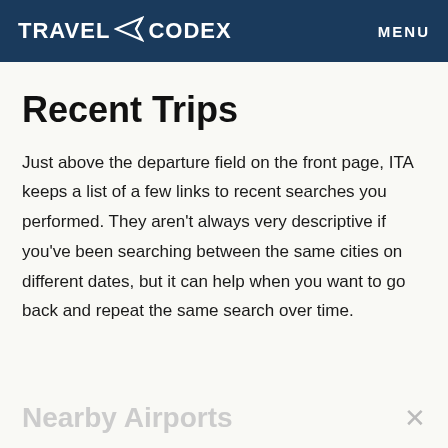TRAVEL CODEX  MENU
Recent Trips
Just above the departure field on the front page, ITA keeps a list of a few links to recent searches you performed. They aren't always very descriptive if you've been searching between the same cities on different dates, but it can help when you want to go back and repeat the same search over time.
Nearby Airports